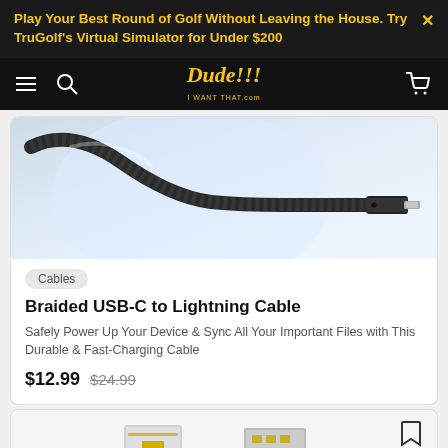Play Your Best Round of Golf Without Leaving the House. Try TruGolf's Virtual Simulator for Under $200
[Figure (logo): Dude!!! I WANT THAT .com logo in yellow italic text on black navbar]
[Figure (photo): Close-up photo of a black braided USB-C to Lightning cable connector tip on a light blue/white background]
Cables
Braided USB-C to Lightning Cable
Safely Power Up Your Device & Sync All Your Important Files with This Durable & Fast-Charging Cable
$12.99 $24.99
[Figure (photo): Partial view of a Lightning cable adapter connector showing gold pins, on a white background]